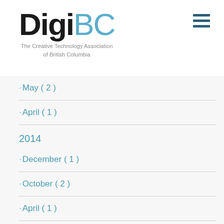[Figure (logo): DigiBC logo with 'Digi' in dark and 'BC' in light blue, followed by tagline 'The Creative Technology Association of British Columbia']
· May ( 2 )
· April ( 1 )
2014
· December ( 1 )
· October ( 2 )
· April ( 1 )
2013